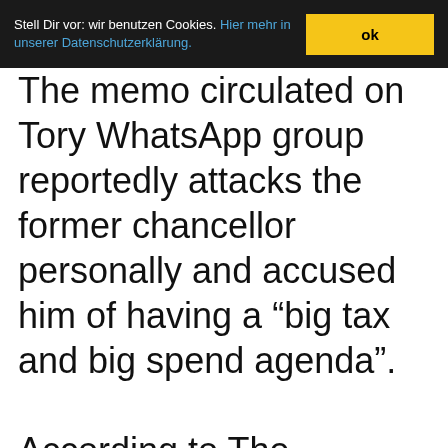Stell Dir vor: wir benutzen Cookies. Hier mehr in unserer Datenschutzerklärung. ok
The memo circulated on Tory WhatsApp group reportedly attacks the former chancellor personally and accused him of having a “big tax and big spend agenda”. According to The Telegraph, which first reported the “mucky memo”, the 424-word anti-Sunak missive was written by someone on the